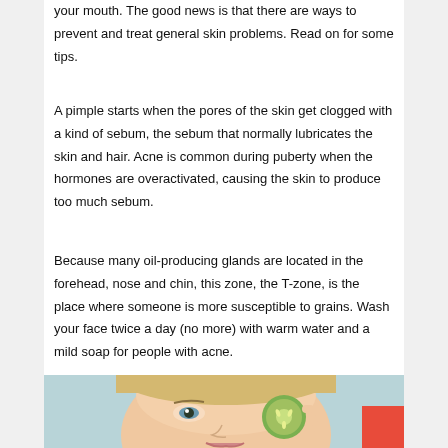your mouth. The good news is that there are ways to prevent and treat general skin problems. Read on for some tips.
A pimple starts when the pores of the skin get clogged with a kind of sebum, the sebum that normally lubricates the skin and hair. Acne is common during puberty when the hormones are overactivated, causing the skin to produce too much sebum.
Because many oil-producing glands are located in the forehead, nose and chin, this zone, the T-zone, is the place where someone is more susceptible to grains. Wash your face twice a day (no more) with warm water and a mild soap for people with acne.
[Figure (photo): A woman holding a cucumber slice over her eye, face visible from forehead to chin, with a light blue-green background. The image is cropped showing the top portion of her face.]